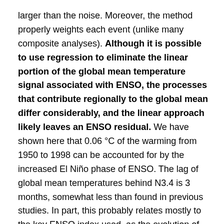larger than the noise. Moreover, the method properly weights each event (unlike many composite analyses). Although it is possible to use regression to eliminate the linear portion of the global mean temperature signal associated with ENSO, the processes that contribute regionally to the global mean differ considerably, and the linear approach likely leaves an ENSO residual. We have shown here that 0.06 °C of the warming from 1950 to 1998 can be accounted for by the increased El Niño phase of ENSO. The lag of global mean temperatures behind N3.4 is 3 months, somewhat less than found in previous studies. In part, this probably relates mostly to the key ENSO index used, as the evolution of ENSO means that greater or lesser lags arise for alternative indices that also vary across the 1976/1977 climate shift."